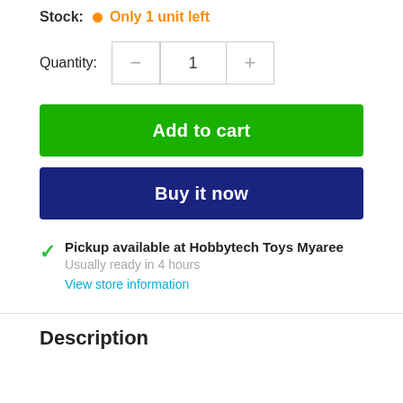Stock: Only 1 unit left
Quantity: 1
Add to cart
Buy it now
Pickup available at Hobbytech Toys Myaree
Usually ready in 4 hours
View store information
Description